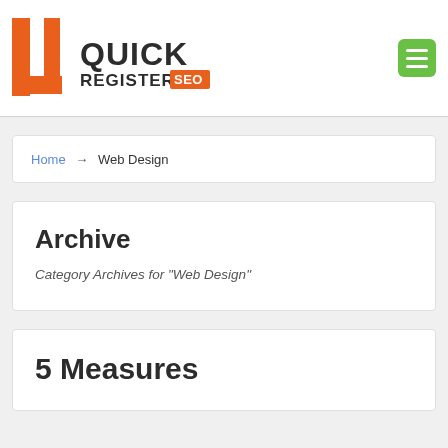[Figure (logo): Quick Register SEO logo with orange letter mark and black/orange text]
[Figure (other): Green hamburger menu button with three white horizontal lines]
Home → Web Design
Archive
Category Archives for "Web Design"
5 Measures